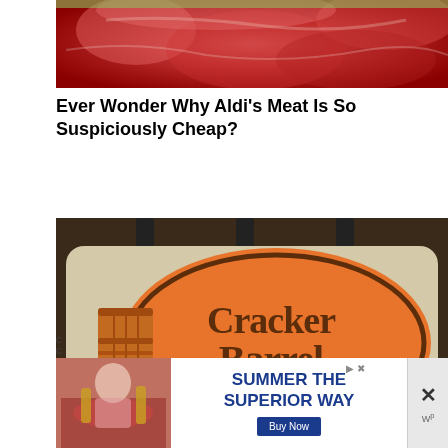[Figure (photo): Close-up photo of raw red meat]
Ever Wonder Why Aldi's Meat Is So Suspiciously Cheap?
[Figure (photo): Cracker Barrel Old Country Store sign with orange logo and barrel graphic]
[Figure (photo): Advertisement banner: Summer The Superior Way with Buy Now button, with close X button]